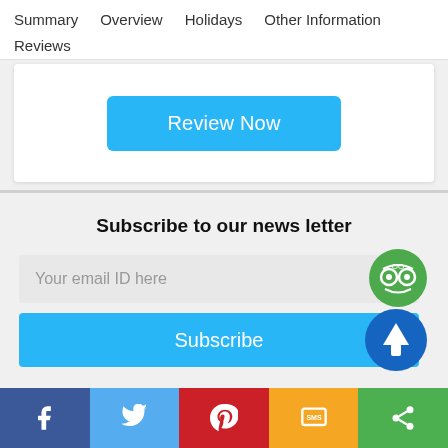Summary  Overview  Holidays  Other Information  Reviews
[Figure (screenshot): White card with a cyan 'Review Now' button centered inside a light gray background area]
Subscribe to our news letter
[Figure (infographic): Email input field with placeholder 'Your email ID here' and a green TripAdvisor owl badge overlapping the right side, followed by a cyan Subscribe button with a blue circular up-arrow badge on the right]
[Figure (infographic): Social media footer bar with five colored sections: Facebook (dark blue, f icon), Twitter (light blue, bird icon), Pinterest (red, P icon), SMS (orange/yellow, SMS icon), Share (green, share icon)]